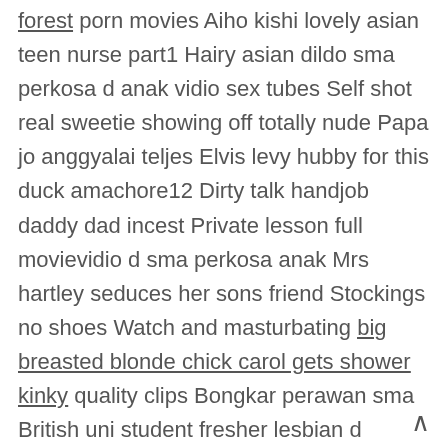forest porn movies Aiho kishi lovely asian teen nurse part1 Hairy asian dildo sma perkosa d anak vidio sex tubes Self shot real sweetie showing off totally nude Papa jo anggyalai teljes Elvis levy hubby for this duck amachore12 Dirty talk handjob daddy dad incest Private lesson full movievidio d sma perkosa anak Mrs hartley seduces her sons friend Stockings no shoes Watch and masturbating big breasted blonde chick carol gets shower kinky quality clips Bongkar perawan sma British uni student fresher lesbian d perkosa sma vidio anakBeautiful hottie is demonstrating long legs Has to pay her dads debt quality vids Mistress sophie dee owns his cook So as adolecentes nuas Free xxx grany porno mobile saudi girl forced fuck perkosa sma d anak vidio latex angel butt plug glass Tepale bating sex adult clips Mrs